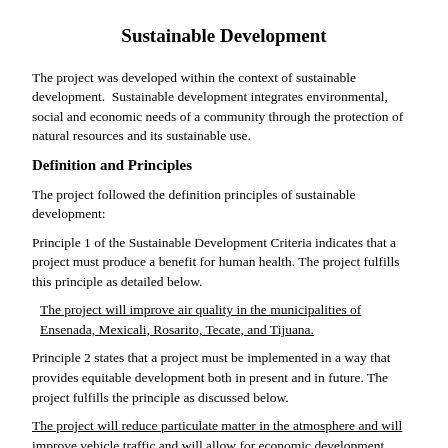Sustainable Development
The project was developed within the context of sustainable development.  Sustainable development integrates environmental, social and economic needs of a community through the protection of natural resources and its sustainable use.
Definition and Principles
The project followed the definition principles of sustainable development:
Principle 1 of the Sustainable Development Criteria indicates that a project must produce a benefit for human health. The project fulfills this principle as detailed below.
The project will improve air quality in the municipalities of Ensenada, Mexicali, Rosarito, Tecate, and Tijuana.
Principle 2 states that a project must be implemented in a way that provides equitable development both in present and in future. The project fulfills the principle as discussed below.
The project will reduce particulate matter in the atmosphere and will improve vehicle traffic and will allow for economic development.
Principle 3 indicates that a project must have an integrated component of environmental protection. The project contemplates the following.
The reducing PM...particles in the...